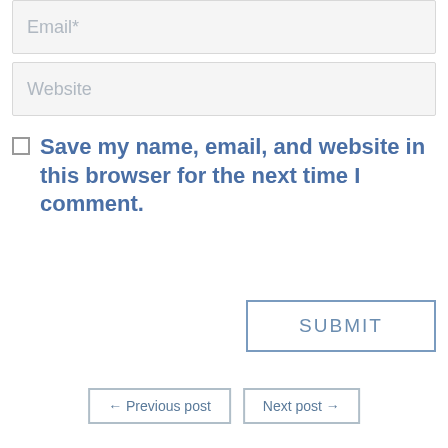Email*
Website
Save my name, email, and website in this browser for the next time I comment.
SUBMIT
← Previous post
Next post →